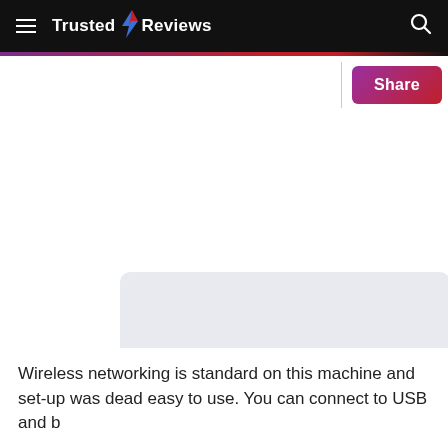Trusted Reviews
[Figure (screenshot): Trusted Reviews website header with hamburger menu icon, Trusted Reviews logo with lightning bolt, and search icon on black background]
[Figure (photo): Light blue/grey rectangular image placeholder area with rounded corners]
Wireless networking is standard on this machine and set-up was dead easy to use. You can connect to USB and b